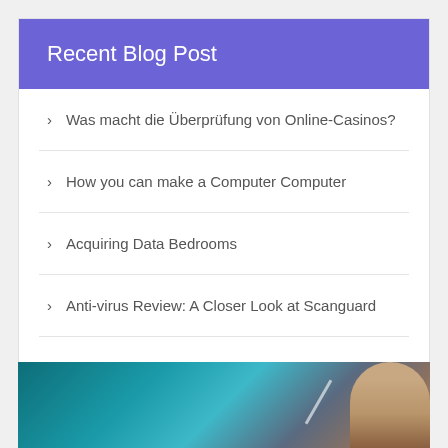Recent Blog Post
Was macht die Überprüfung von Online-Casinos?
How you can make a Computer Computer
Acquiring Data Bedrooms
Anti-virus Review: A Closer Look at Scanguard
Ways to Remove Strain From Your Cellular phone
[Figure (photo): Partial photo of a person with light/bokeh background in teal and brown tones]